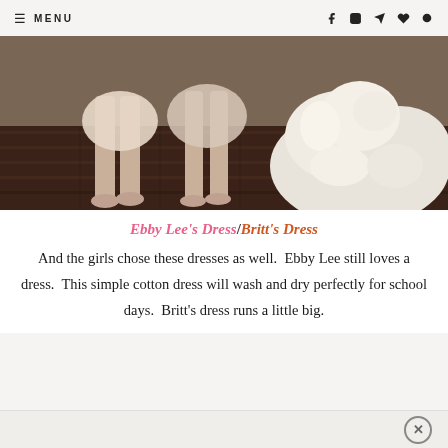≡ MENU
[Figure (photo): Photo showing legs/feet of two girls wearing light pink/white dresses standing on dark hardwood floor, with a large white fluffy dog visible on the right side]
Ebby Lee's Dress/Britt's Dress
And the girls chose these dresses as well.  Ebby Lee still loves a dress.  This simple cotton dress will wash and dry perfectly for school days.  Britt's dress runs a little big.
×